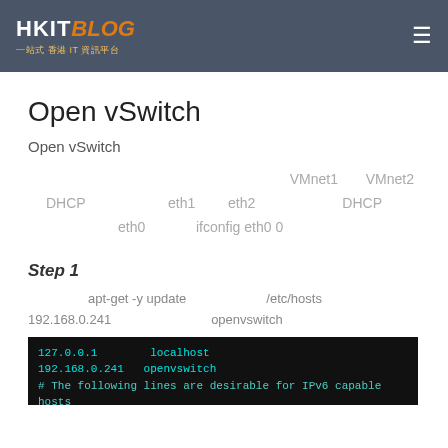HKITBLOG 一站式香港IT資訊平台
Open vSwitch
Open vSwitch
VMnet1  VMnet2
DHCP  eth1  eth2  DHCP
eth0  ifconfig eth0 0
Step 1
apt-get -y update  /etc/hosts
192.168.0.241  openvswitch
[Figure (screenshot): Terminal screenshot showing: 127.0.0.1 localhost, 192.168.0.241 openvswitch, # The following lines are desirable for IPv6 capable hosts]